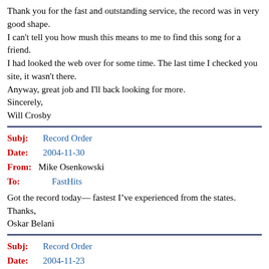Thank you for the fast and outstanding service, the record was in very good shape.
I can't tell you how mush this means to me to find this song for a friend.
I had looked the web over for some time. The last time I checked you site, it wasn't there.
Anyway, great job and I'll back looking for more.
Sincerely,
Will Crosby
Subj: Record Order
Date: 2004-11-30
From: Mike Osenkowski
To: FastHits
Got the record today— fastest I’ve experienced from the states.
Thanks,
Oskar Belani
Subj: Record Order
Date: 2004-11-23
From: Steve StLouis